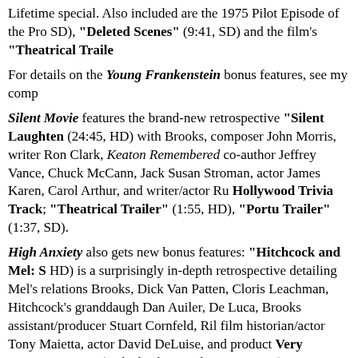Lifetime special. Also included are the 1975 Pilot Episode of the Pro SD), "Deleted Scenes" (9:41, SD) and the film's "Theatrical Traile
For details on the Young Frankenstein bonus features, see my comp
Silent Movie features the brand-new retrospective "Silent Laughten (24:45, HD) with Brooks, composer John Morris, writer Ron Clark, Keaton Remembered co-author Jeffrey Vance, Chuck McCann, Jack Susan Stroman, actor James Karen, Carol Arthur, and writer/actor Ru Hollywood Trivia Track; "Theatrical Trailer" (1:55, HD), "Portu Trailer" (1:37, SD).
High Anxiety also gets new bonus features: "Hitchcock and Mel: S HD) is a surprisingly in-depth retrospective detailing Mel's relations Brooks, Dick Van Patten, Cloris Leachman, Hitchcock's granddaugh Dan Auiler, De Luca, Brooks assistant/producer Stuart Cornfeld, Ril film historian/actor Tony Maietta, actor David DeLuise, and product Very Nervous?" Test (a playback comedic quiz option); Don't Get Score Track; and the "Theatrical Trailer" (2:41, HD).
History of the World - Part I offers two more new featurettes: "Mus (10:40, HD) with Brooks, composer/lyricist Marc Shaiman, Stroman Johnson, Spencer, De Luca, Cornfeld, and DeLuise, and "Making H (10:04, HD) with Brooks, Spencer and Cornfeld. Also on this disc ar Track, Isolated Score Track, and the "Theatrical Trailer" (3:04, H